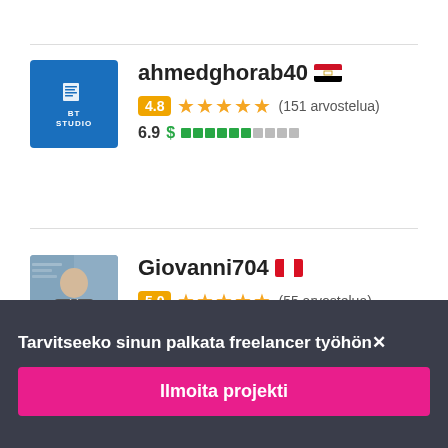[Figure (screenshot): Freelancer profile listing showing ahmedghorab40 with Egypt flag, rating 4.8 stars (151 arvostelua), score 6.9 with dollar bar indicator]
[Figure (screenshot): Freelancer profile listing showing Giovanni704 with Peru flag, rating 5.0 stars (55 arvostelua)]
Tarvitseeko sinun palkata freelancer työhön✕
Ilmoita projekti